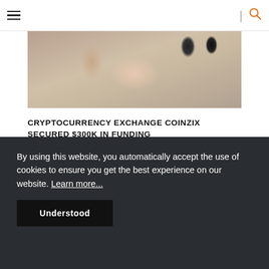Navigation header with hamburger menu and search icon
[Figure (photo): Blurry close-up photo of a hand holding or near USB keys/dongles, with blurred background]
CRYPTOCURRENCY EXCHANGE COINZIX SECURED $300K IN FUNDING
[Figure (screenshot): Screenshot of a cryptocurrency exchange dashboard with blue UI, showing charts and data panels]
By using this website, you automatically accept the use of cookies to ensure you get the best experience on our website. Learn more...
Understood